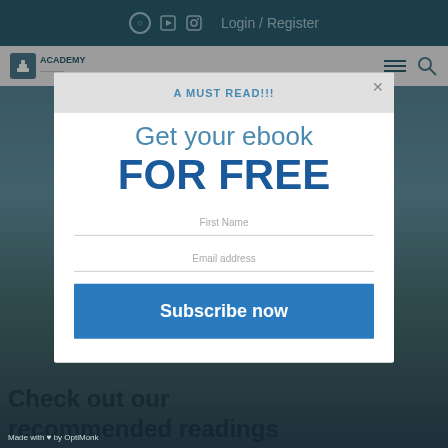Login / Register
[Figure (screenshot): Academy website navigation bar with logo]
Bookstore
Check out our recommended readings
A MUST READ!!!
Get your ebook FOR FREE
First Name
Email address
Subscribe now
Made with ♥ by OptiMonk